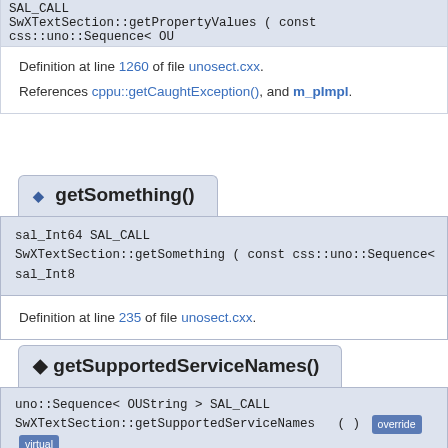SAL_CALL
SwXTextSection::getPropertyValues ( const css::uno::Sequence< OU
Definition at line 1260 of file unosect.cxx.
References cppu::getCaughtException(), and m_pImpl.
◆ getSomething()
sal_Int64 SAL_CALL
SwXTextSection::getSomething ( const css::uno::Sequence< sal_Int8
Definition at line 235 of file unosect.cxx.
◆ getSupportedServiceNames()
uno::Sequence< OUString > SAL_CALL
SwXTextSection::getSupportedServiceNames  ( ) override virtual